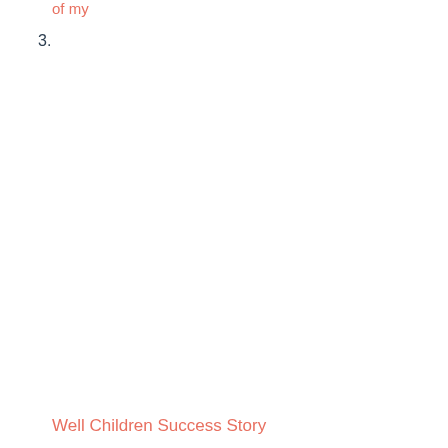of my
3.
Well Children Success Story